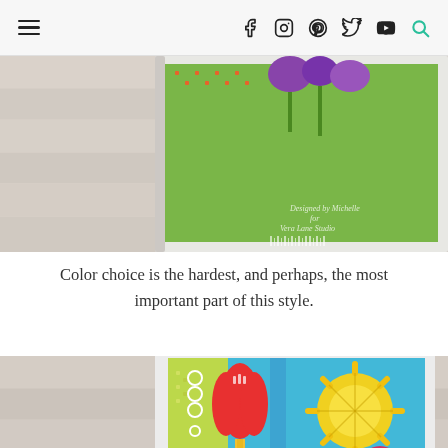Navigation bar with hamburger menu and social icons: facebook, instagram, pinterest, twitter, youtube, search
[Figure (photo): Colorful folk-art style framed card with flowers, partially shown from above on a light wood surface. Text overlay reads 'Designed by Michelle for Vera Lane Studio']
Color choice is the hardest, and perhaps, the most important part of this style.
[Figure (photo): Colorful folk-art style framed card featuring a cat surrounded by red and pink flowers, green stems, and a yellow sunflower on a bright blue background, partially cropped]